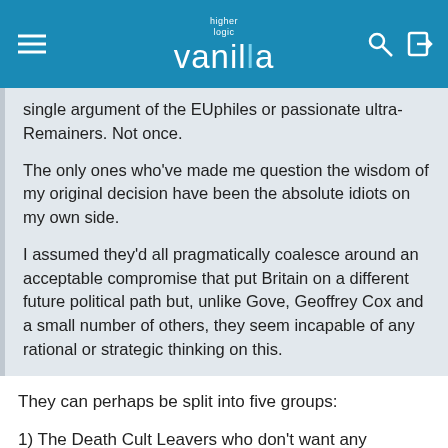higher logic vanilla
single argument of the EUphiles or passionate ultra-Remainers. Not once.
The only ones who've made me question the wisdom of my original decision have been the absolute idiots on my own side.
I assumed they'd all pragmatically coalesce around an acceptable compromise that put Britain on a different future political path but, unlike Gove, Geoffrey Cox and a small number of others, they seem incapable of any rational or strategic thinking on this.
They can perhaps be split into five groups:
1) The Death Cult Leavers who don't want any